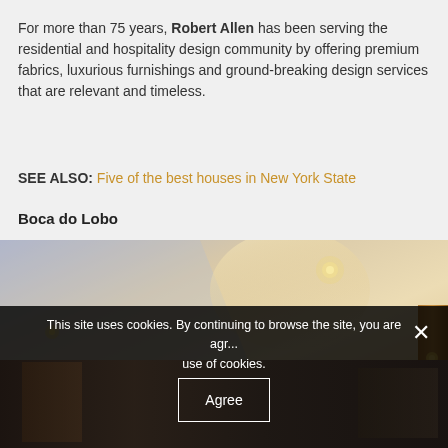For more than 75 years, Robert Allen has been serving the residential and hospitality design community by offering premium fabrics, luxurious furnishings and ground-breaking design services that are relevant and timeless.
SEE ALSO: Five of the best houses in New York State
Boca do Lobo
[Figure (photo): Interior room photo showing a modern white ceiling with recessed lighting and warm ambient glow, with a partial view of wooden furniture element on the right edge]
This site uses cookies. By continuing to browse the site, you are agreeing to our use of cookies.